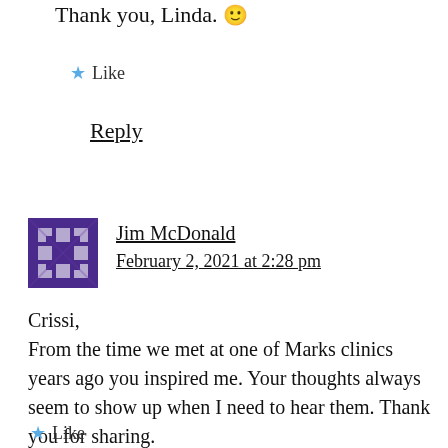Thank you, Linda. 🙂
★ Like
Reply
Jim McDonald
February 2, 2021 at 2:28 pm
Crissi,
From the time we met at one of Marks clinics years ago you inspired me. Your thoughts always seem to show up when I need to hear them. Thank you for sharing.
★ Like